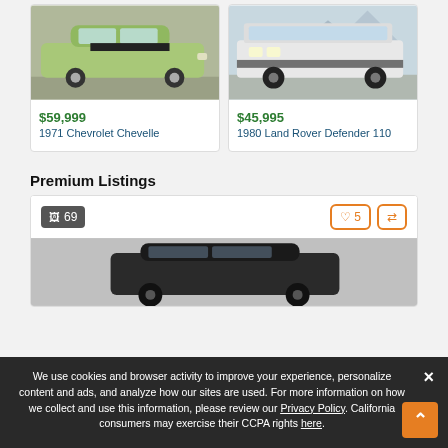[Figure (photo): 1971 Chevrolet Chevelle, green with black stripes, parked in a lot]
$59,999
1971 Chevrolet Chevelle
[Figure (photo): 1980 Land Rover Defender 110, white with black accents, parked outdoors with mountains in background]
$45,995
1980 Land Rover Defender 110
Premium Listings
[Figure (photo): Premium car listing card showing 69 photos indicator, 5 favorites, and a dark car partially visible]
We use cookies and browser activity to improve your experience, personalize content and ads, and analyze how our sites are used. For more information on how we collect and use this information, please review our Privacy Policy. California consumers may exercise their CCPA rights here.